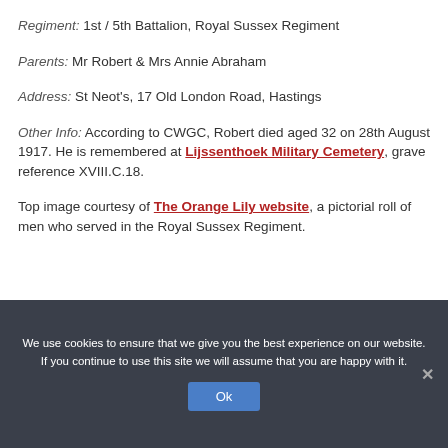Regiment: 1st / 5th Battalion, Royal Sussex Regiment
Parents: Mr Robert & Mrs Annie Abraham
Address: St Neot's, 17 Old London Road, Hastings
Other Info: According to CWGC, Robert died aged 32 on 28th August 1917. He is remembered at Lijssenthoek Military Cemetery, grave reference XVIII.C.18.
Top image courtesy of The Orange Lily website, a pictorial roll of men who served in the Royal Sussex Regiment.
We use cookies to ensure that we give you the best experience on our website. If you continue to use this site we will assume that you are happy with it.